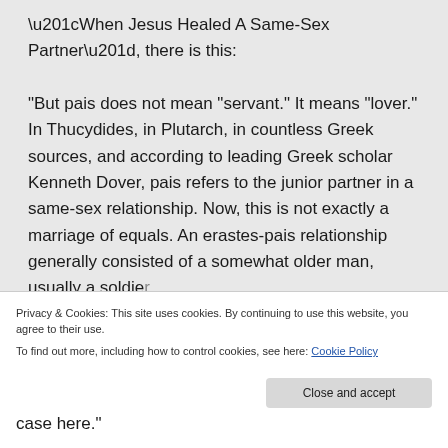“When Jesus Healed A Same-Sex Partner”, there is this:
“But pais does not mean “servant.” It means “lover.” In Thucydides, in Plutarch, in countless Greek sources, and according to leading Greek scholar Kenneth Dover, pais refers to the junior partner in a same-sex relationship. Now, this is not exactly a marriage of equals. An erastes-pais relationship generally consisted of a somewhat older man, usually a soldier...
case here.”
Privacy & Cookies: This site uses cookies. By continuing to use this website, you agree to their use.
To find out more, including how to control cookies, see here: Cookie Policy